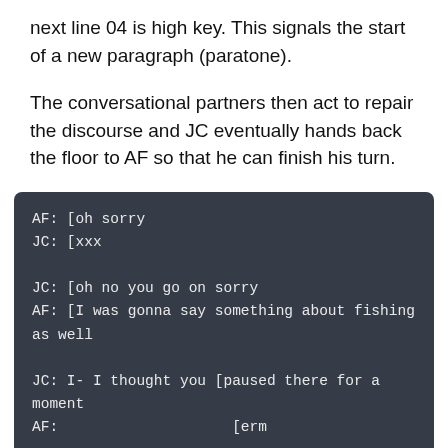next line 04 is high key. This signals the start of a new paragraph (paratone).
The conversational partners then act to repair the discourse and JC eventually hands back the floor to AF so that he can finish his turn.
AF: [oh sorry
JC: [xxx

JC: [oh no you go on sorry
AF: [I was gonna say something about fishing as well

JC: I- I thought you [paused there for a moment
AF:                    [erm

JC: so I wasn't sure
     go on to finishing
AF: hh erm the EU wants a long term